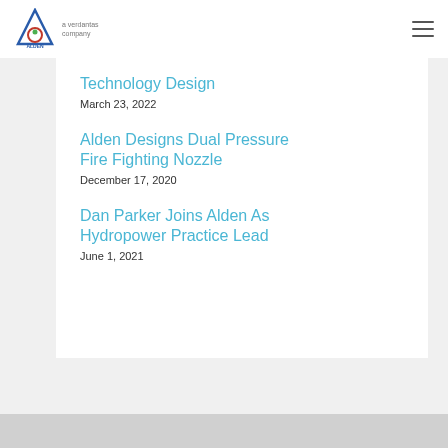ALDEN — a verdantas company
Technology Design
March 23, 2022
Alden Designs Dual Pressure Fire Fighting Nozzle
December 17, 2020
Dan Parker Joins Alden As Hydropower Practice Lead
June 1, 2021